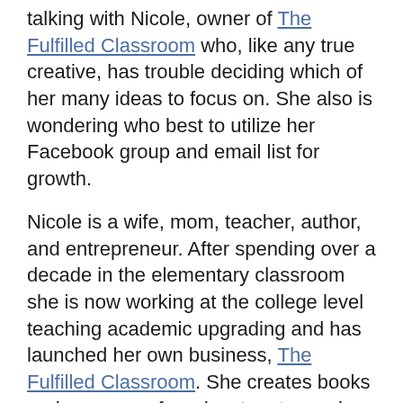talking with Nicole, owner of The Fulfilled Classroom who, like any true creative, has trouble deciding which of her many ideas to focus on. She also is wondering who best to utilize her Facebook group and email list for growth.
Nicole is a wife, mom, teacher, author, and entrepreneur. After spending over a decade in the elementary classroom she is now working at the college level teaching academic upgrading and has launched her own business, The Fulfilled Classroom. She creates books and resources for educators to use in the classroom that focus on bringing gratitude, mindfulness, and joy into the lives of our students and teachers.